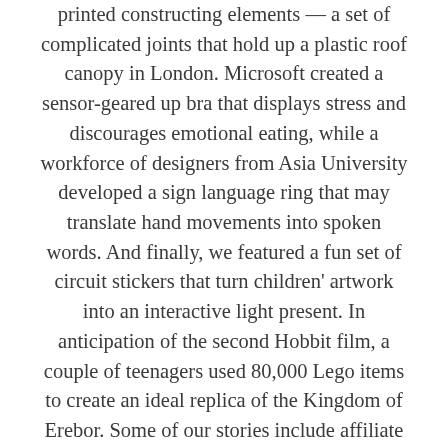Priestman lately designed the world's first 3D printed constructing elements — a set of complicated joints that hold up a plastic roof canopy in London. Microsoft created a sensor-geared up bra that displays stress and discourages emotional eating, while a workforce of designers from Asia University developed a sign language ring that may translate hand movements into spoken words. And finally, we featured a fun set of circuit stickers that turn children' artwork into an interactive light present. In anticipation of the second Hobbit film, a couple of teenagers used 80,000 Lego items to create an ideal replica of the Kingdom of Erebor. Some of our stories include affiliate hyperlinks. All merchandise advisable by Engadget are selected by our editorial team,